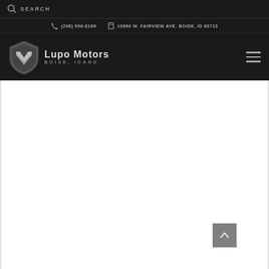SEARCH
(208) 996-8166   10990 W. FAIRVIEW AVE. BOISE, ID 83713
[Figure (logo): Lupo Motors Boise Idaho logo with shield/chevron emblem in silver and text]
[Figure (other): Scroll-to-top button with upward chevron arrow on gray background]